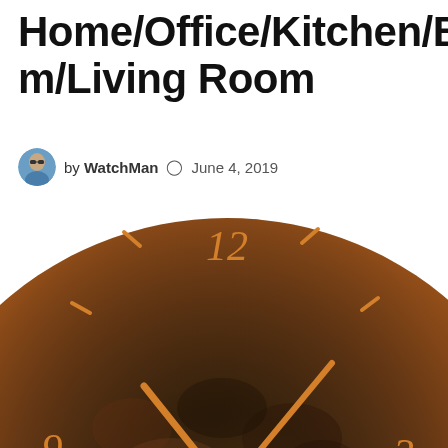Home/Office/Kitchen/Bedroom/Living Room
by WatchMan  June 4, 2019
[Figure (photo): A round wall clock with a dark mottled copper/rust-colored face. The clock shows numbers 12, 9, and 3, with tick marks at other positions. Copper-colored hands point to approximately 10:10. The clock has an aged, patinated dark brown and orange appearance.]